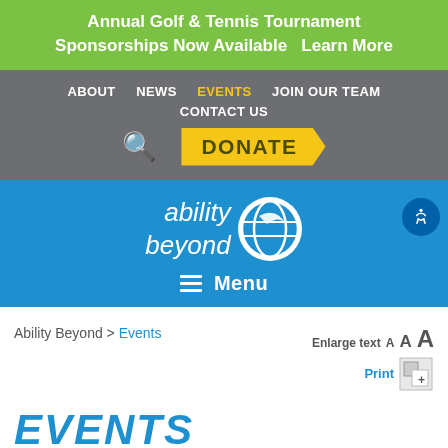Annual Golf & Tennis Tournament Sponsorships Now Available  Learn More
ABOUT  NEWS  EVENTS  JOIN OUR TEAM  CONTACT US  DONATE
[Figure (logo): Ability Beyond logo with circular icon and italic text 'ability beyond' on blue background]
≡ Menu
Ability Beyond > Events
Enlarge text A A A Print
EVENTS